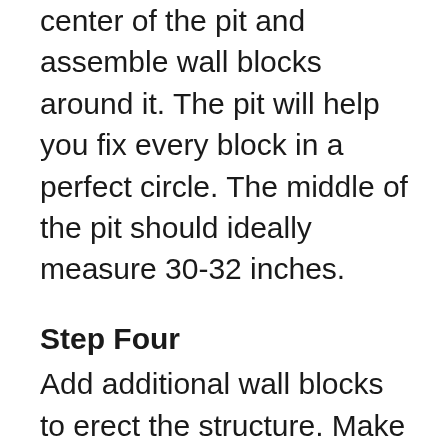center of the pit and assemble wall blocks around it. The pit will help you fix every block in a perfect circle. The middle of the pit should ideally measure 30-32 inches.
Step Four
Add additional wall blocks to erect the structure. Make sure to leave a few gaps randomly between the wall blocks to allow the fire to draw in some air. Now, set the steel pit ring in the centre and add two final